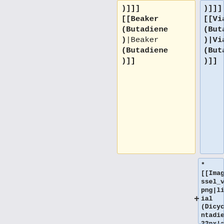)]]] [[Beaker (Butadiene)|Beaker (Butadiene)]]
)]]] [[Vial (Butadiene)|Vial (Butadiene)]]
* [[Image:Vessel_vial.png|link=Vial (Dicyclopentadiene)|32px|alt=Vial (Dicyclopentadiene)| [[Vial (Dicyclopentadiene)|Vial (Dicyclope ntadiene)|Vial |Dic...